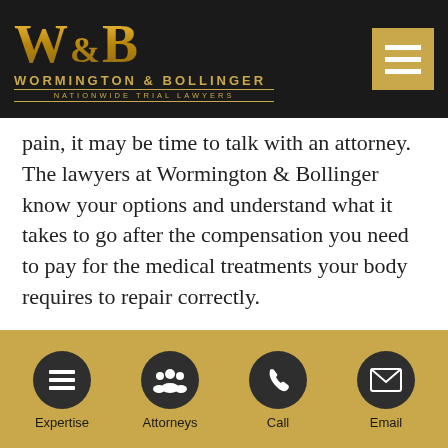[Figure (logo): Wormington & Bollinger law firm logo with gold W&B monogram, firm name, and 'Nationwide Trial Lawyers' tagline on dark background, with hamburger menu button]
pain, it may be time to talk with an attorney. The lawyers at Wormington & Bollinger know your options and understand what it takes to go after the compensation you need to pay for the medical treatments your body requires to repair correctly.
Receiving medical treatment, including chiropractic care, needs to be sought after as soon as possible after your car accident. Not only could your
Expertise  Attorneys  Call  Email